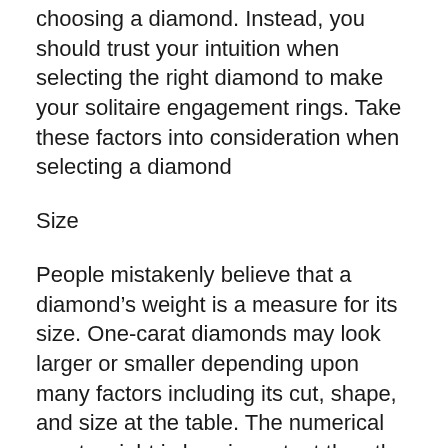choosing a diamond. Instead, you should trust your intuition when selecting the right diamond to make your solitaire engagement rings. Take these factors into consideration when selecting a diamond
Size
People mistakenly believe that a diamond's weight is a measure for its size. One-carat diamonds may look larger or smaller depending upon many factors including its cut, shape, and size at the table. The numerical carat weight is less important than the impact of the diamond in its setting. It is possible to make a solitaire diamond look larger without spending more.
Shape
Although the classic round diamond is the best-selling